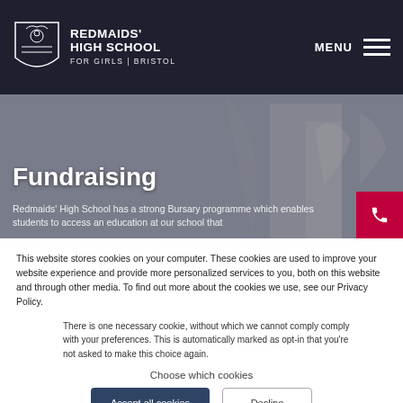[Figure (screenshot): Redmaids' High School website header with logo (shield crest) and school name 'REDMAIDS' HIGH SCHOOL FOR GIRLS | BRISTOL', and a MENU hamburger icon on the right.]
Fundraising
Redmaids' High School has a strong Bursary programme which enables students to access an education at our school that
This website stores cookies on your computer. These cookies are used to improve your website experience and provide more personalized services to you, both on this website and through other media. To find out more about the cookies we use, see our Privacy Policy.
There is one necessary cookie, without which we cannot comply comply with your preferences. This is automatically marked as opt-in that you're not asked to make this choice again.
Choose which cookies
Accept all cookies
Decline